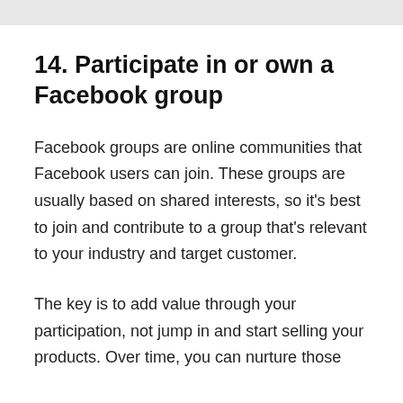14. Participate in or own a Facebook group
Facebook groups are online communities that Facebook users can join. These groups are usually based on shared interests, so it's best to join and contribute to a group that's relevant to your industry and target customer.
The key is to add value through your participation, not jump in and start selling your products. Over time, you can nurture those